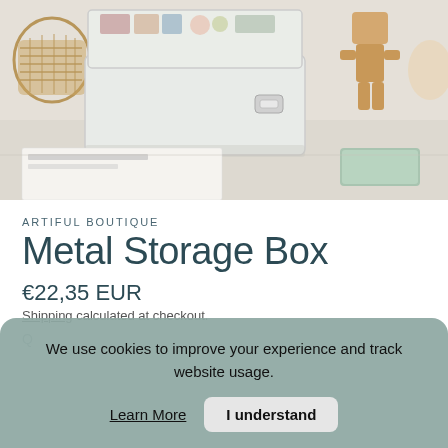[Figure (photo): Product photo of a white metal storage box open with various items inside, a wicker basket on the left, a wooden jointed figure toy on the right, a small green rectangular box, and a white card with text on a light neutral surface.]
ARTIFUL BOUTIQUE
Metal Storage Box
€22,35 EUR
Shipping calculated at checkout.
We use cookies to improve your experience and track website usage.
Learn More
I understand